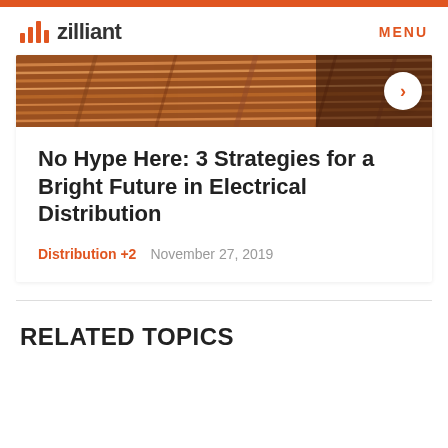zilliant — MENU
[Figure (photo): Close-up photo of copper/electrical wire strands with warm orange tones, with a navigation arrow button on the right]
No Hype Here: 3 Strategies for a Bright Future in Electrical Distribution
Distribution +2   November 27, 2019
RELATED TOPICS